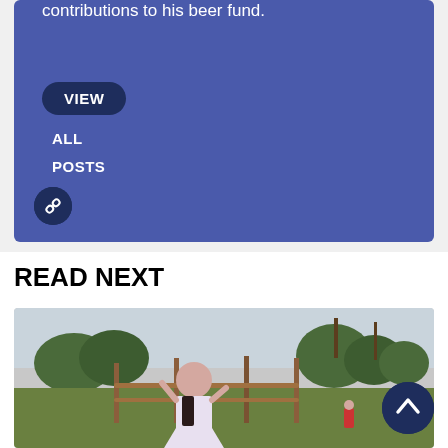contributions to his beer fund.
VIEW
ALL
POSTS
READ NEXT
[Figure (photo): A person posing outdoors near a fence with trees and landscape in background]